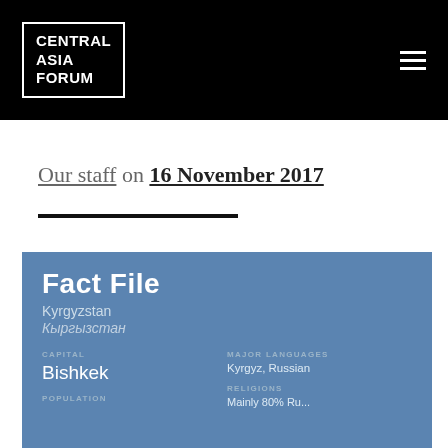CENTRAL ASIA FORUM
Our staff on 16 November 2017
[Figure (infographic): Fact File box for Kyrgyzstan with capital Bishkek, major languages Kyrgyz and Russian, and religions information on a blue background. Includes country name in English (Kyrgyzstan) and Cyrillic (Кыргызстан).]